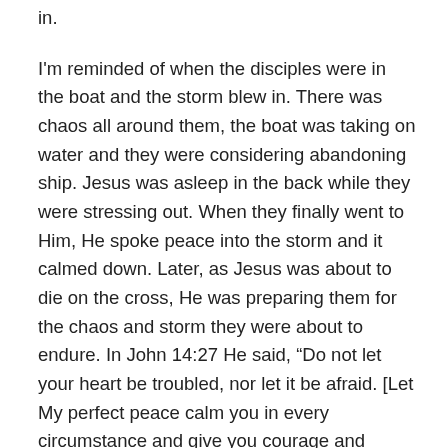in.
I'm reminded of when the disciples were in the boat and the storm blew in. There was chaos all around them, the boat was taking on water and they were considering abandoning ship. Jesus was asleep in the back while they were stressing out. When they finally went to Him, He spoke peace into the storm and it calmed down. Later, as Jesus was about to die on the cross, He was preparing them for the chaos and storm they were about to endure. In John 14:27 He said, “Do not let your heart be troubled, nor let it be afraid. [Let My perfect peace calm you in every circumstance and give you courage and strength for every challenge]” (AMP).
Jesus knew we were going to have chaos in our lives and have challenging situations that would cause us to stress